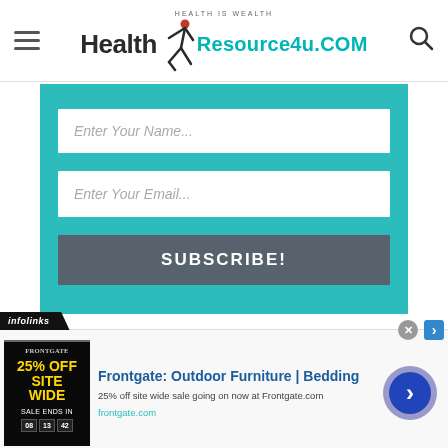HEALTH IS WEALTH — Health Resource4u.COM
[Figure (screenshot): Website subscription form with teal background containing 'Enter Your Name...' and 'Enter Your Email...' input fields and a 'SUBSCRIBE!' button]
[Figure (screenshot): Infolinks advertisement banner for Frontgate: Outdoor Furniture | Bedding — 25% off site wide sale going on now at Frontgate.com — frontgate.com]